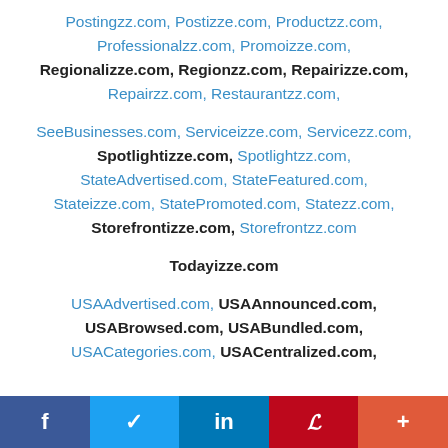Postingzz.com, Postizze.com, Productzz.com, Professionalzz.com, Promoizze.com, Regionalizze.com, Regionzz.com, Repairizze.com, Repairzz.com, Restaurantzz.com,
SeeBusinesses.com, Serviceizze.com, Servicezz.com, Spotlightizze.com, Spotlightzz.com, StateAdvertised.com, StateFeatured.com, Stateizze.com, StatePromoted.com, Statezz.com, Storefrontizze.com, Storefrontzz.com
Todayizze.com
USAAdvertised.com, USAAnnounced.com, USABrowsed.com, USABundled.com, USACategories.com, USACentralized.com,
f  ✓  in  P  +